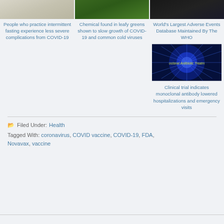[Figure (photo): Top row of three article thumbnail images: plate of food, leafy greens, dark background]
People who practice intermittent fasting experience less severe complications from COVID-19
Chemical found in leafy greens shown to slow growth of COVID-19 and common cold viruses
World's Largest Adverse Events Database Maintained By The WHO
[Figure (photo): Dark blue background with burst pattern and text reading monoclonal Antibiotic Treatm]
Clinical trial indicates monoclonal antibody lowered hospitalizations and emergency visits
Filed Under: Health
Tagged With: coronavirus, COVID vaccine, COVID-19, FDA, Novavax, vaccine